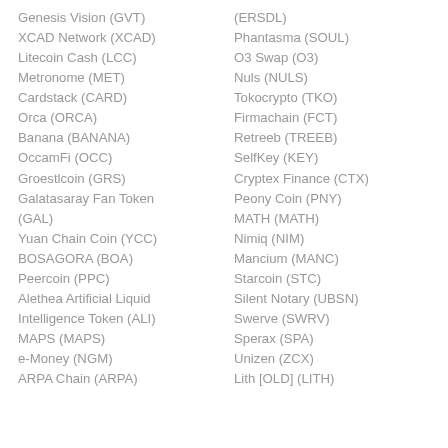Genesis Vision (GVT)
(ERSDL)
XCAD Network (XCAD)
Phantasma (SOUL)
Litecoin Cash (LCC)
O3 Swap (O3)
Metronome (MET)
Nuls (NULS)
Cardstack (CARD)
Tokocrypto (TKO)
Orca (ORCA)
Firmachain (FCT)
Banana (BANANA)
Retreeb (TREEB)
OccamFi (OCC)
SelfKey (KEY)
Groestlcoin (GRS)
Cryptex Finance (CTX)
Galatasaray Fan Token (GAL)
Peony Coin (PNY)
MATH (MATH)
Yuan Chain Coin (YCC)
Nimiq (NIM)
BOSAGORA (BOA)
Mancium (MANC)
Peercoin (PPC)
Starcoin (STC)
Alethea Artificial Liquid Intelligence Token (ALI)
Silent Notary (UBSN)
Swerve (SWRV)
MAPS (MAPS)
Sperax (SPA)
e-Money (NGM)
Unizen (ZCX)
ARPA Chain (ARPA)
Lith [OLD] (LITH)